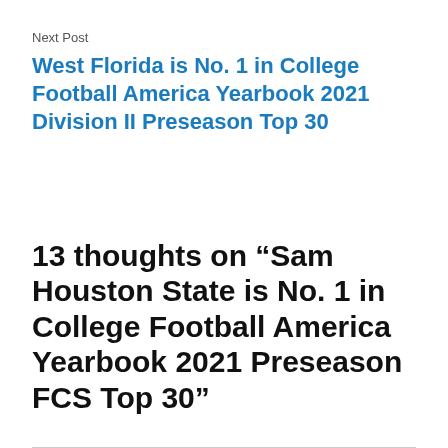Next Post
West Florida is No. 1 in College Football America Yearbook 2021 Division II Preseason Top 30
13 thoughts on “Sam Houston State is No. 1 in College Football America Yearbook 2021 Preseason FCS Top 30”